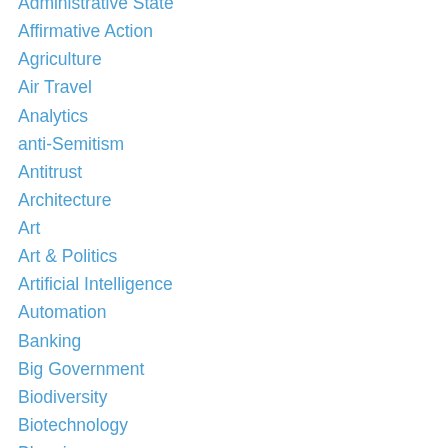Administrative State
Affirmative Action
Agriculture
Air Travel
Analytics
anti-Semitism
Antitrust
Architecture
Art
Art & Politics
Artificial Intelligence
Automation
Banking
Big Government
Biodiversity
Biotechnology
Blogging
Cafe Hayek
Campaign Finance
Capital Markets